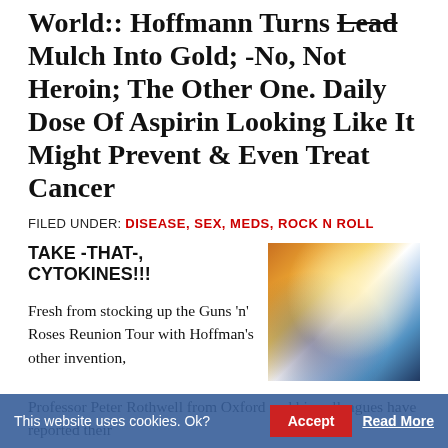World:: Hoffmann Turns Lead Mulch Into Gold; -No, Not Heroin; The Other One. Daily Dose Of Aspirin Looking Like It Might Prevent & Even Treat Cancer
FILED UNDER: DISEASE, SEX, MEDS, ROCK N ROLL
TAKE -THAT-, CYTOKINES!!!
[Figure (photo): Close-up photo of a sparkling crystal or gem with bright light refraction, warm orange and white light tones against a dark background]
Fresh from stocking up the Guns 'n' Roses Reunion Tour with Hoffman's other invention,
Professor Peter Rothwell from Oxford and his colleagues have reported their
This website uses cookies. Ok?
Accept
Read More